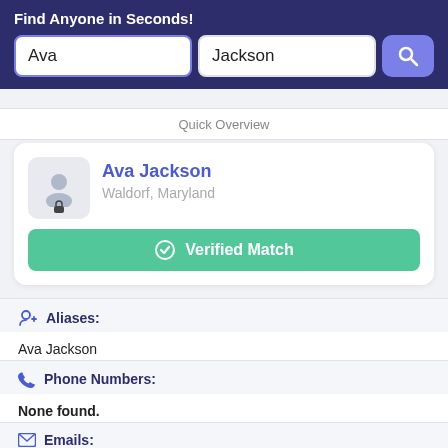Find Anyone in Seconds!
Ava
Jackson
Quick Overview
Ava Jackson
Waldorf, Maryland
Verified Match
Aliases:
Ava Jackson
Phone Numbers:
None found.
Emails:
ava92455@gmail.com